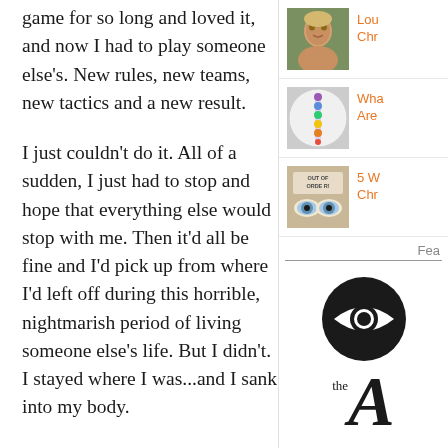game for so long and loved it, and now I had to play someone else's. New rules, new teams, new tactics and a new result.
I just couldn't do it. All of a sudden, I just had to stop and hope that everything else would stop with me. Then it'd all be fine and I'd pick up from where I'd left off during this horrible, nightmarish period of living someone else's life. But I didn't. I stayed where I was...and I sank into my body.
Before my diagnosis, I was tired of living someone else's life. Tired of pretending that everything was ok. Tired of having
[Figure (photo): Photo of a smiling older woman with blonde hair against a green background]
Lou Chr
[Figure (illustration): Circular chakra or spiritual diagram with colored bands]
Wha Are
[Figure (photo): Photo showing eyes with 'OUT OF ORDER' written on forehead]
5 W Chr
Fea
[Figure (logo): CBS eye logo - black circle with eye inside]
[Figure (logo): The A... publication logo in italic serif font]